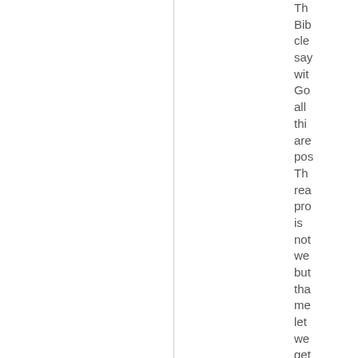The Bible clearly says with God all things are possible. The reason progress is not we but that me let we get bet the